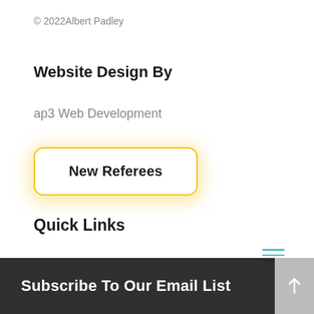© 2022Albert Padley
Website Design By
ap3 Web Development
New Referees
Quick Links
[Figure (other): Hamburger menu icon with three horizontal teal lines]
Subscribe To Our Email List